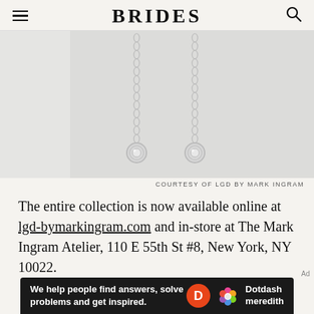BRIDES
[Figure (photo): Two delicate silver chain drop earrings with round diamond/crystal bezel pendants at the bottom, on a light grey background.]
COURTESY OF LGD BY MARK INGRAM
The entire collection is now available online at lgd-bymarkingram.com and in-store at The Mark Ingram Atelier, 110 E 55th St #8, New York, NY 10022.
[Figure (infographic): Dotdash Meredith advertisement banner: 'We help people find answers, solve problems and get inspired.' with D logo circle and colorful flower logo.]